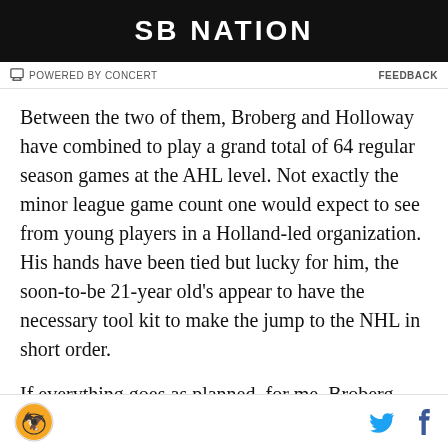[Figure (logo): SB Nation ad banner with white text on black background]
POWERED BY CONCERT    FEEDBACK
Between the two of them, Broberg and Holloway have combined to play a grand total of 64 regular season games at the AHL level. Not exactly the minor league game count one would expect to see from young players in a Holland-led organization. His hands have been tied but lucky for him, the soon-to-be 21-year old's appear to have the necessary tool kit to make the jump to the NHL in short order.
If everything goes as planned, for me, Broberg will be among the Oilers most important additions for the coming '22-'23 season. The talented Swede has the
SB Nation logo, Twitter icon, Facebook icon